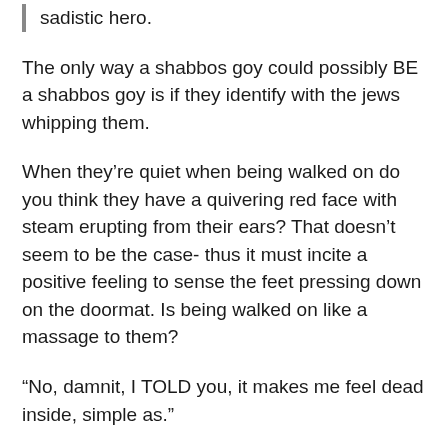sadistic hero.
The only way a shabbos goy could possibly BE a shabbos goy is if they identify with the jews whipping them.
When they’re quiet when being walked on do you think they have a quivering red face with steam erupting from their ears? That doesn’t seem to be the case- thus it must incite a positive feeling to sense the feet pressing down on the doormat. Is being walked on like a massage to them?
“No, damnit, I TOLD you, it makes me feel dead inside, simple as.”
Outside of this context don’t you adamantly disavow any notion that you are indeed a doormat? A whipping-